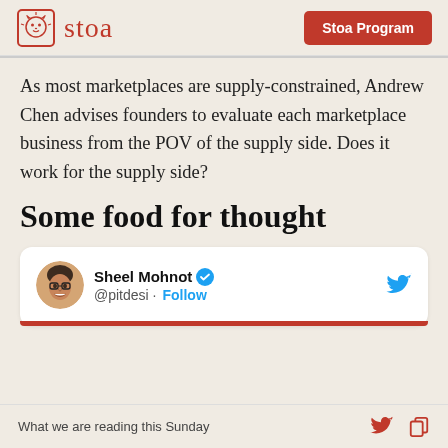stoa | Stoa Program
As most marketplaces are supply-constrained, Andrew Chen advises founders to evaluate each marketplace business from the POV of the supply side. Does it work for the supply side?
Some food for thought
[Figure (screenshot): Embedded tweet card from @pitdesi (Sheel Mohnot, verified) with Follow link and Twitter bird icon, with a red bar at the bottom]
What we are reading this Sunday